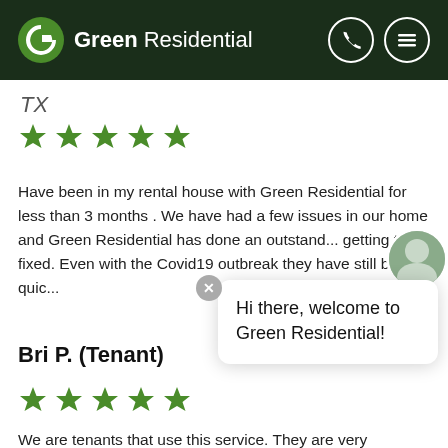Green Residential
TX
★★★★★
Have been in my rental house with Green Residential for less than 3 months . We have had a few issues in our home and Green Residential has done an outstanding job getting things fixed. Even with the Covid19 outbreak they have still been quic...
Bri P. (Tenant)
★★★★★
We are tenants that use this service. They are very responsive to maintenance request. I love the texting feature that provides updates and allows you to "chat"